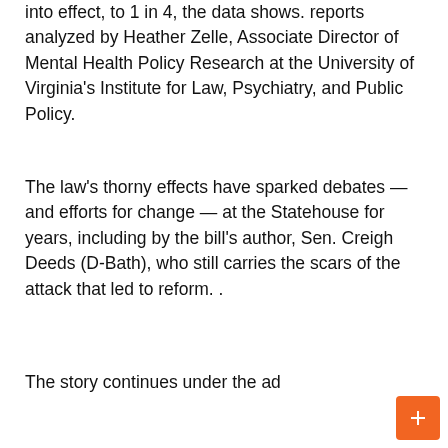into effect, to 1 in 4, the data shows. reports analyzed by Heather Zelle, Associate Director of Mental Health Policy Research at the University of Virginia's Institute for Law, Psychiatry, and Public Policy.
The law's thorny effects have sparked debates — and efforts for change — at the Statehouse for years, including by the bill's author, Sen. Creigh Deeds (D-Bath), who still carries the scars of the attack that led to reform. .
The story continues under the ad